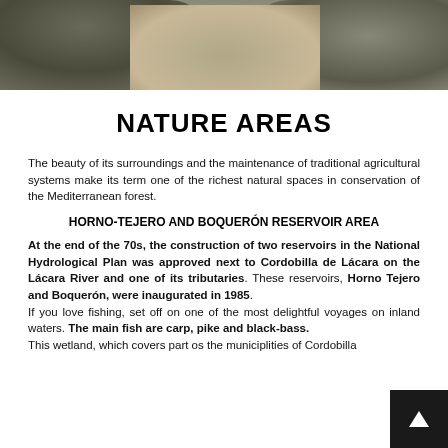[Figure (photo): Rocks and sandy ground with moss/lichen, nature area landscape photo cropped at top]
NATURE AREAS
The beauty of its surroundings and the maintenance of traditional agricultural systems make its term one of the richest natural spaces in conservation of the Mediterranean forest.
HORNO-TEJERO AND BOQUERÓN RESERVOIR AREA
At the end of the 70s, the construction of two reservoirs in the National Hydrological Plan was approved next to Cordobilla de Lácara on the Lácara River and one of its tributaries. These reservoirs, Horno Tejero and Boquerón, were inaugurated in 1985.
If you love fishing, set off on one of the most delightful voyages on inland waters. The main fish are carp, pike and black-bass.
This wetland, which covers part os the municiplities of Cordobilla